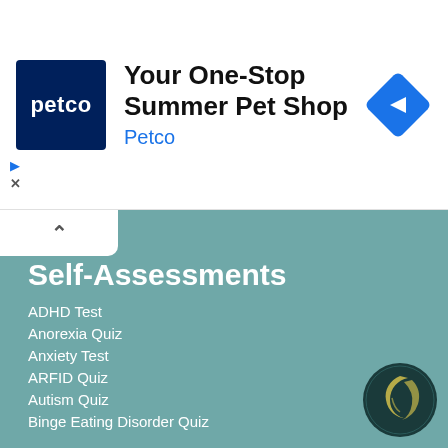[Figure (screenshot): Petco advertisement banner with logo and 'Your One-Stop Summer Pet Shop' headline, navigation arrow icon, and ad controls]
Self-Assessments
ADHD Test
Anorexia Quiz
Anxiety Test
ARFID Quiz
Autism Quiz
Binge Eating Disorder Quiz
Bipolar Disorder Quiz
Body Dysmorphia Quiz
Borderline Personality Disorder Test
Depression Test
[Figure (logo): Psych Central logo — dark teal circle with crescent moon/face silhouette]